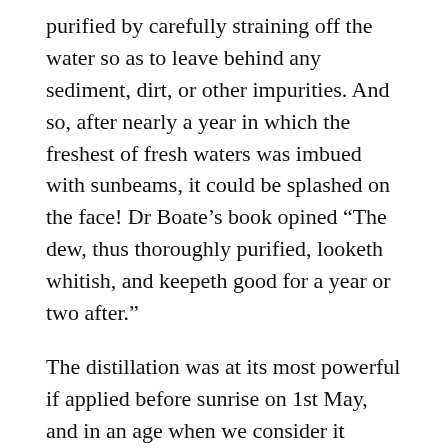purified by carefully straining off the water so as to leave behind any sediment, dirt, or other impurities. And so, after nearly a year in which the freshest of fresh waters was imbued with sunbeams, it could be splashed on the face! Dr Boate's book opined “The dew, thus thoroughly purified, looketh whitish, and keepeth good for a year or two after.”
The distillation was at its most powerful if applied before sunrise on 1st May, and in an age when we consider it beneficial to rub avocado extract into our hair, or spread unmentionable products over our skin to prevent wrinkles, who is to say that a spot of early morning dew water is not just as magical in its properties?